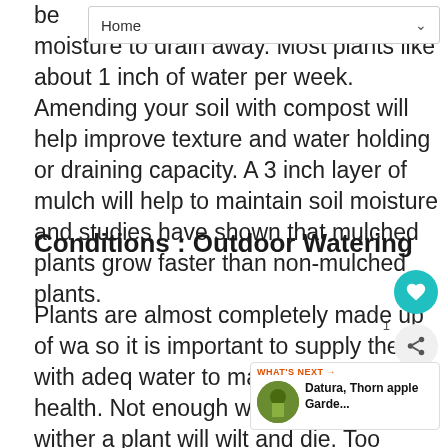moisture to drain away. Most plants like about 1 inch of water per week. Amending your soil with compost will help improve texture and water holding or draining capacity. A 3 inch layer of mulch will help to maintain soil moisture and studies have shown that mulched plants grow faster than non-mulched plants.
Conditions : Outdoor Watering
Plants are almost completely made up of water, so it is important to supply them with adequate water to maintain good plant health. Not enough water and roots will wither and the plant will wilt and die. Too much water applied too frequently deprives roots of oxygen leading